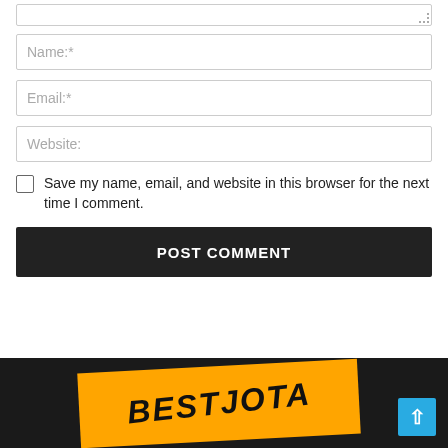[textarea stub]
Name:*
Email:*
Website:
Save my name, email, and website in this browser for the next time I comment.
POST COMMENT
[Figure (logo): BESTJOTA logo on orange diagonal banner in dark footer]